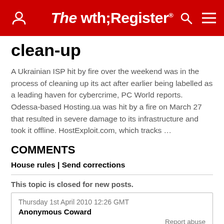The Register
clean-up
A Ukrainian ISP hit by fire over the weekend was in the process of cleaning up its act after earlier being labelled as a leading haven for cybercrime, PC World reports. Odessa-based Hosting.ua was hit by a fire on March 27 that resulted in severe damage to its infrastructure and took it offline. HostExploit.com, which tracks …
COMMENTS
House rules | Send corrections
This topic is closed for new posts.
Thursday 1st April 2010 12:26 GMT
Anonymous Coward
Report abuse
and for those of you that want to block